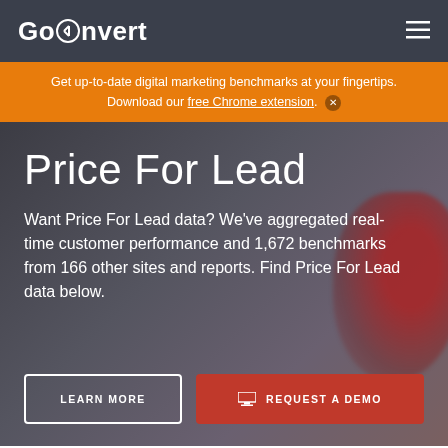GoConvert
Get up-to-date digital marketing benchmarks at your fingertips. Download our free Chrome extension. ✕
Price For Lead
Want Price For Lead data? We've aggregated real-time customer performance and 1,672 benchmarks from 166 other sites and reports. Find Price For Lead data below.
LEARN MORE
REQUEST A DEMO